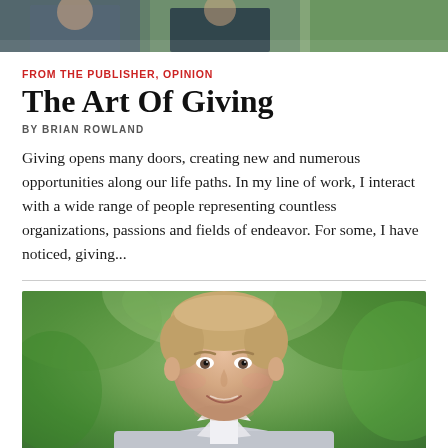[Figure (photo): Top banner photo strip showing people at an event, partially visible]
FROM THE PUBLISHER, OPINION
The Art Of Giving
BY BRIAN ROWLAND
Giving opens many doors, creating new and numerous opportunities along our life paths. In my line of work, I interact with a wide range of people representing countless organizations, passions and fields of endeavor. For some, I have noticed, giving...
[Figure (photo): Portrait photo of Brian Rowland, a middle-aged man with blond hair wearing a light blazer and white shirt, smiling, outdoors with green foliage background]